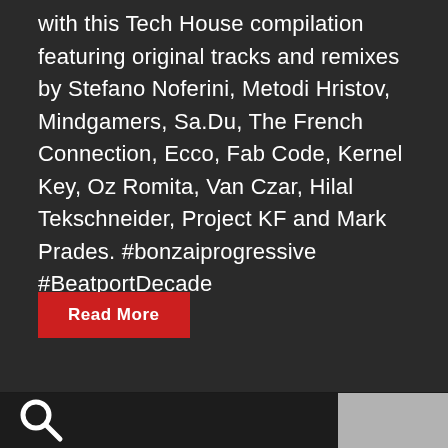with this Tech House compilation featuring original tracks and remixes by Stefano Noferini, Metodi Hristov, Mindgamers, Sa.Du, The French Connection, Ecco, Fab Code, Kernel Key, Oz Romita, Van Czar, Hilal Tekschneider, Project KF and Mark Prades. #bonzaiprogressive #BeatportDecade
Read More
Load more
[Figure (other): Search icon (magnifying glass) in white on dark background]